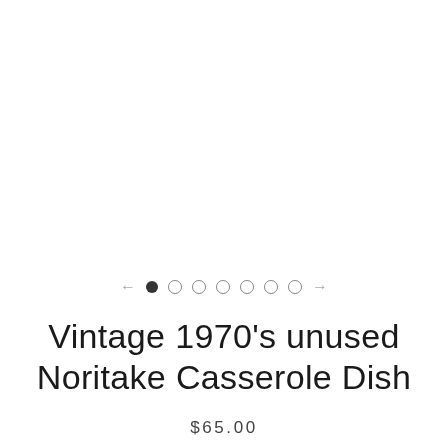[Figure (photo): Product photo area (image not shown, white background)]
← ● ○ ○ ○ ○ ○ ○ →
Vintage 1970's unused Noritake Casserole Dish
$65.00